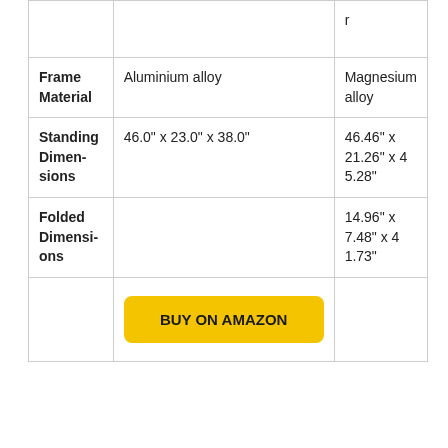|  |  | r |
| --- | --- | --- |
| Frame Material | Aluminium alloy | Magnesium alloy |
| Standing Dimensions | 46.0" x 23.0" x 38.0" | 46.46" x 21.26" x 45.28" |
| Folded Dimensions |  | 14.96" x 7.48" x 41.73" |
|  | BUY ON AMAZON |  |